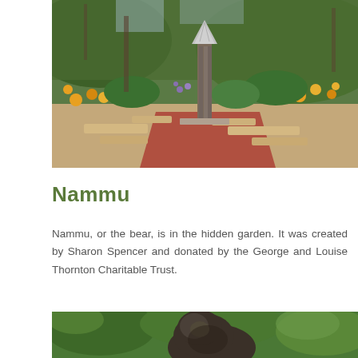[Figure (photo): Outdoor garden scene with a tall narrow metal sculpture or tower with a triangular/pointed roof, surrounded by colorful wildflowers (yellow, orange, purple) and green shrubs, with stone pathway and flagstone borders. Forested hillside in background.]
Nammu
Nammu, or the bear, is in the hidden garden. It was created by Sharon Spencer and donated by the George and Louise Thornton Charitable Trust.
[Figure (photo): Outdoor garden scene with a large dark bronze bear sculpture visible among lush green trees and shrubs, photographed from close range showing the bear's rounded head and body.]